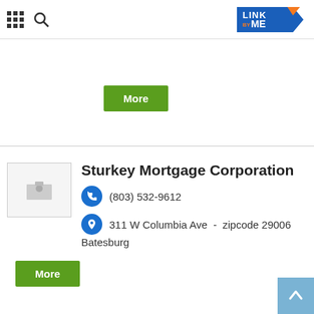LINK BY ME
[Figure (logo): LINK BY ME logo — blue arrow shape with orange accent, white text]
More
Sturkey Mortgage Corporation
(803) 532-9612
311 W Columbia Ave  -  zipcode 29006 Batesburg
More